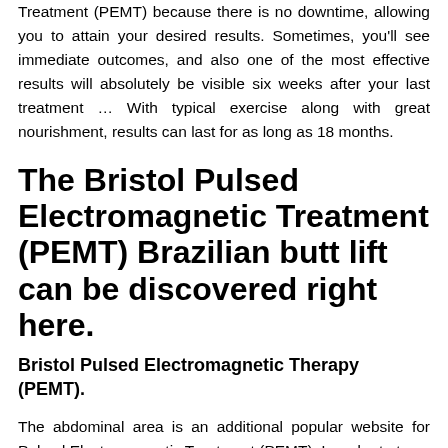Treatment (PEMT) because there is no downtime, allowing you to attain your desired results. Sometimes, you'll see immediate outcomes, and also one of the most effective results will absolutely be visible six weeks after your last treatment … With typical exercise along with great nourishment, results can last for as long as 18 months.
The Bristol Pulsed Electromagnetic Treatment (PEMT) Brazilian butt lift can be discovered right here.
Bristol Pulsed Electromagnetic Therapy (PEMT).
The abdominal area is an additional popular website for Pulsed Electromagnetic Treatment (PEMT). In order to tone